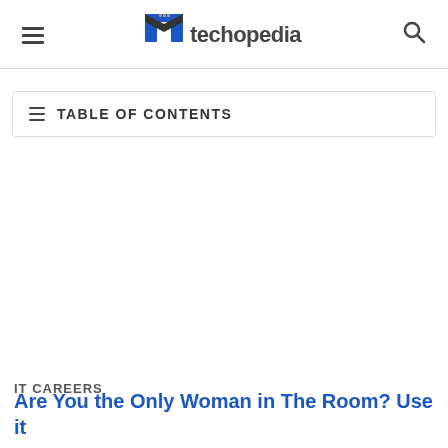techopedia
TABLE OF CONTENTS
IT CAREERS
Are You the Only Woman in The Room? Use it